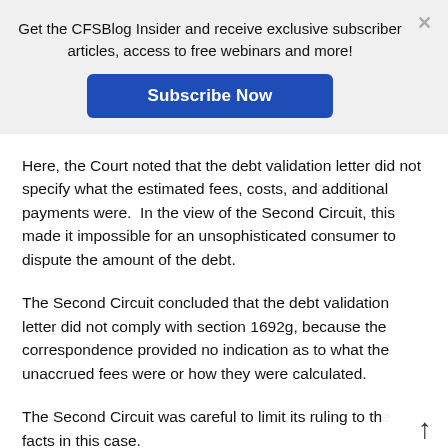Get the CFSBlog Insider and receive exclusive subscriber articles, access to free webinars and more!
Subscribe Now
Here, the Court noted that the debt validation letter did not specify what the estimated fees, costs, and additional payments were.  In the view of the Second Circuit, this made it impossible for an unsophisticated consumer to dispute the amount of the debt.
The Second Circuit concluded that the debt validation letter did not comply with section 1692g, because the correspondence provided no indication as to what the unaccrued fees were or how they were calculated.
The Second Circuit was careful to limit its ruling to the facts in this case.